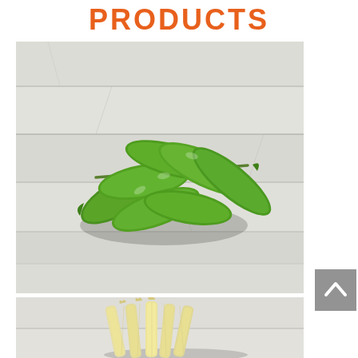PRODUCTS
[Figure (photo): Green snap peas / sugar snap peas arranged in a bunch on a white painted wooden surface background]
[Figure (photo): Baby corn / young corn cobs arranged in a bundle on a white painted wooden surface background]
[Figure (other): Back to top arrow button - grey square with upward chevron arrow]